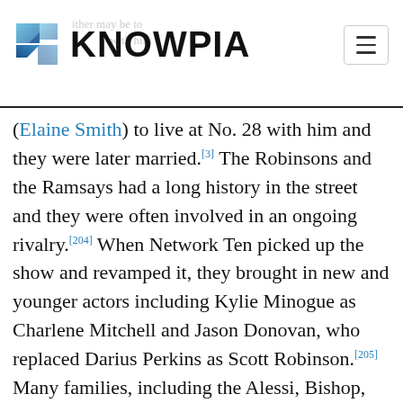KNOWPIA
(Elaine Smith) to live at No. 28 with him and they were later married.[3] The Robinsons and the Ramsays had a long history in the street and they were often involved in an ongoing rivalry.[204] When Network Ten picked up the show and revamped it, they brought in new and younger actors including Kylie Minogue as Charlene Mitchell and Jason Donovan, who replaced Darius Perkins as Scott Robinson.[205] Many families, including the Alessi, Bishop, Hancock, Hoyland, Rebecchi, Scully, Timmins and Willis families have moved in and out of the street over the years.[19]
When storylines for certain characters become ti the scriptwriters simply move one family out and replace it with a new one.[206] By the time Neighbours